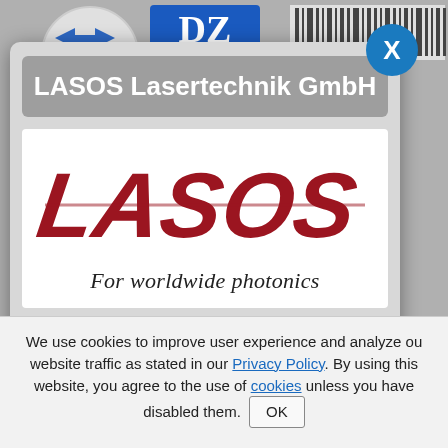[Figure (screenshot): Partially visible navigation/logo bar at the top of a website, showing transport/industry logos in blue and yellow on grey background]
LASOS Lasertechnik GmbH
[Figure (logo): LASOS logo in dark red italic bold text with tagline 'For worldwide photonics']
Register/log in to connect with this
We use cookies to improve user experience and analyze our website traffic as stated in our Privacy Policy. By using this website, you agree to the use of cookies unless you have disabled them. OK